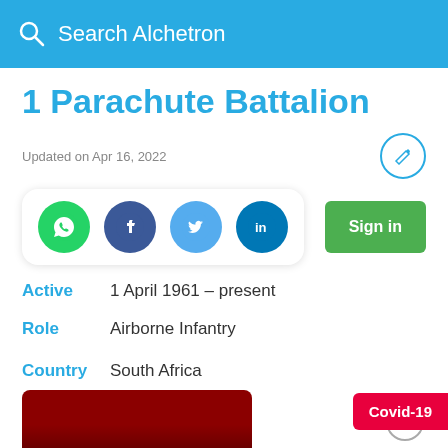Search Alchetron
1 Parachute Battalion
Updated on Apr 16, 2022
[Figure (screenshot): Social share icons: WhatsApp (green), Facebook (dark blue), Twitter (light blue), LinkedIn (blue)]
Sign in
Active  1 April 1961 – present
Role  Airborne Infantry
Country  South Africa
Size  Battalion
[Figure (photo): Partial photo showing red/maroon colored image at bottom of page]
Covid-19